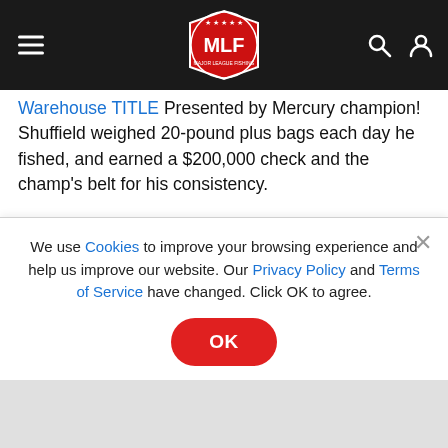MLF Major League Fishing navigation bar with logo, hamburger menu, search and profile icons
Warehouse TITLE Presented by Mercury champion! Shuffield weighed 20-pound plus bags each day he fished, and earned a $200,000 check and the champ's belt for his consistency.
That's a wrap for the 2022 season of the Tackle Warehouse Pro Circuit Presented by Fuel Me! Check out the scene from Championship Sunday's weigh-in, and all the big bass caught by the pros.
[Figure (photo): Partial image strip showing MLF-branded items and a person holding a fish, cropped at bottom of article area]
We use Cookies to improve your browsing experience and help us improve our website. Our Privacy Policy and Terms of Service have changed. Click OK to agree.